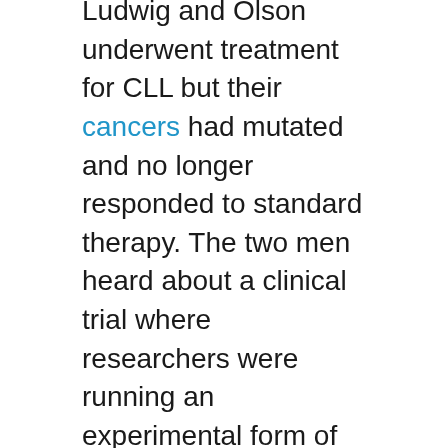Ludwig and Olson underwent treatment for CLL but their cancers had mutated and no longer responded to standard therapy. The two men heard about a clinical trial where researchers were running an experimental form of immunotherapy at the University of Pennsylvania's (Penn) Abramson Cancer Center and the Perelman School of Medicine.
Immunotherapy helps a person's immune system fight cancer. This treatment involves T-cells, which are a type of white blood cell that helps